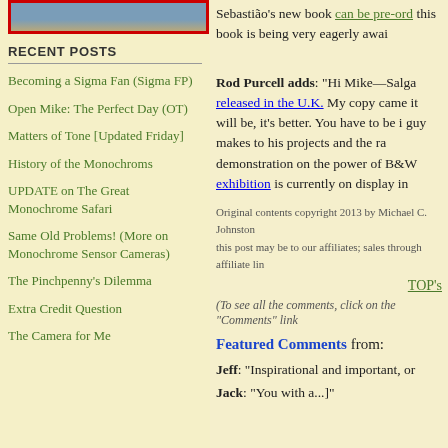[Figure (photo): Partial photo with red border at top of left column]
RECENT POSTS
Becoming a Sigma Fan (Sigma FP)
Open Mike: The Perfect Day (OT)
Matters of Tone [Updated Friday]
History of the Monochroms
UPDATE on The Great Monochrome Safari
Same Old Problems! (More on Monochrome Sensor Cameras)
The Pinchpenny's Dilemma
Extra Credit Question
The Camera for Me
Sebastião's new book can be pre-ord... this book is being very eagerly awai...
Rod Purcell adds: "Hi Mike—Salga... released in the U.K. My copy came... it will be, it's better. You have to be i... guy makes to his projects and the ra... demonstration on the power of B&W... exhibition is currently on display in...
Original contents copyright 2013 by Michael C. Johnston...
this post may be to our affiliates; sales through affiliate lin...
TOP's
(To see all the comments, click on the "Comments" link...
Featured Comments from:
Jeff: "Inspirational and important, or...
Jack: "You with a...]"